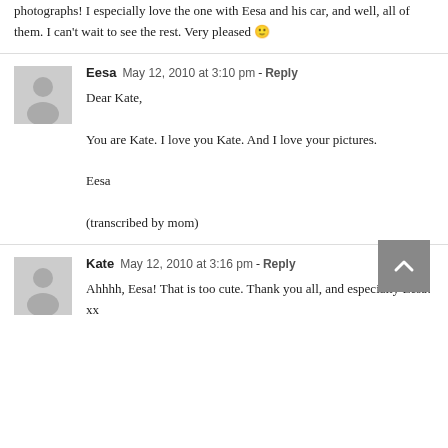photographs! I especially love the one with Eesa and his car, and well, all of them. I can't wait to see the rest. Very pleased 🙂
Eesa   May 12, 2010 at 3:10 pm - Reply

Dear Kate,

You are Kate. I love you Kate. And I love your pictures.

Eesa

(transcribed by mom)
Kate   May 12, 2010 at 3:16 pm - Reply

Ahhhh, Eesa! That is too cute. Thank you all, and especially Eesa! xx